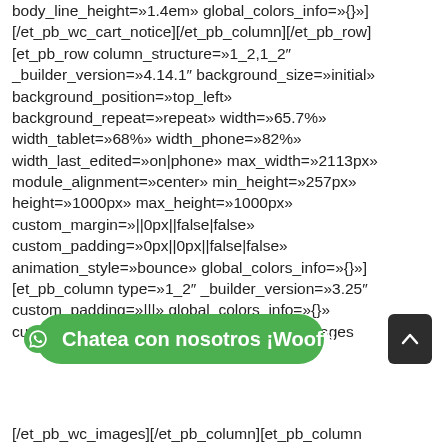body_line_height=»1.4em» global_colors_info=»{}»][/et_pb_wc_cart_notice][/et_pb_column][/et_pb_row][et_pb_row column_structure=»1_2,1_2″ _builder_version=»4.14.1″ background_size=»initial» background_position=»top_left» background_repeat=»repeat» width=»65.7%» width_tablet=»68%» width_phone=»82%» width_last_edited=»on|phone» max_width=»2113px» module_alignment=»center» min_height=»257px» height=»1000px» max_height=»1000px» custom_margin=»||0px||false|false» custom_padding=»0px||0px||false|false» animation_style=»bounce» global_colors_info=»{}»][et_pb_column type=»1_2″ _builder_version=»3.25″ custom_padding=»|||» global_colors_info=»{}» custom_padding__hover=»|||»][et_pb_wc_images
[Figure (other): Green WhatsApp chat button with text 'Chatea con nosotros ¡Wooff!' and a dark scroll-to-top arrow button]
[/et_pb_wc_images][/et_pb_column][et_pb_column